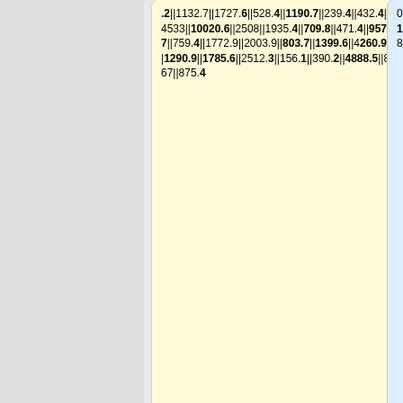.2||1132.7||1727.6||528.4||1190.7||239.4||432.4||4533||10020.6||2508||1935.4||709.8||471.4||957.7||759.4||1772.9||2003.9||803.7||1399.6||4260.9||1290.9||1785.6||2512.3||156.1||390.2||4888.5||867||875.4
08||1935||710||471||958||759||1773||2004||804||1400||4261||1291||1786||2512||156||390||4889||867||875||554||92345||1630
|-
|-
|776||7.5127||0||1||101||1502702||567365||776398.8||158938.3||8597094||18548.8||16735.8||11438.1||7940.7||6483.2||5138.4||1388||2128.4||727.7||548.4||65
|776||8||1||1||101||1502702||567365||776399||158938||8597094||18549||16736||11438||7941||6483||5138||1388||2128||728||548||658||35||315||377||100||995|